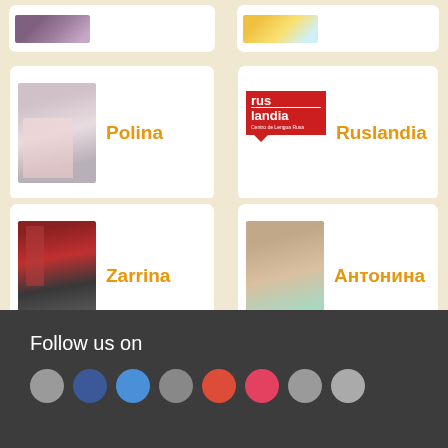[Figure (photo): Top-left profile photo (partially visible, purple tones)]
[Figure (photo): Top-right profile photo (partially visible, yellow and teal tones)]
[Figure (photo): Profile photo of Polina, young woman in pink jacket]
Polina
[Figure (logo): Ruslandia logo - red box with rus/landia text and Centro de Lengua Rusa subtitle]
Ruslandia
[Figure (photo): Profile photo of Zarrina, red phone booth background]
Zarrina
[Figure (photo): Profile photo of Антонина, young woman outdoors]
Антонина
Follow us on